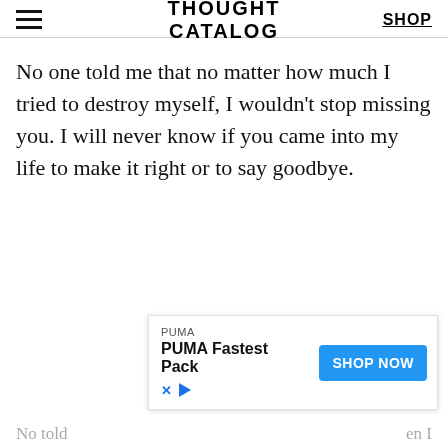THOUGHT CATALOG | SHOP
No one told me that no matter how much I tried to destroy myself, I wouldn't stop missing you. I will never know if you came into my life to make it right or to say goodbye.
[Figure (other): PUMA advertisement banner with 'PUMA Fastest Pack' text and 'SHOP NOW' button]
No told … hoped a… en I … you s…